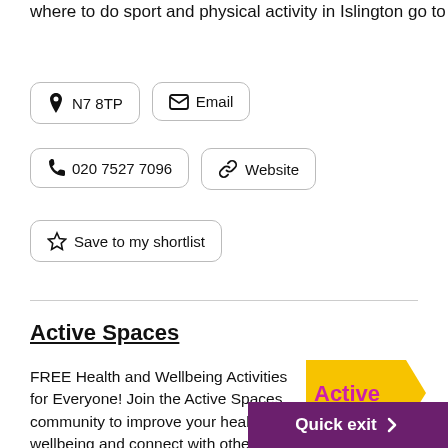where to do sport and physical activity in Islington go to
N7 8TP
Email
020 7527 7096
Website
Save to my shortlist
Active Spaces
FREE Health and Wellbeing Activities for Everyone! Join the Active Spaces community to improve your health, wellbeing and connect with others. Pilates For All In person at Mildmay Centre, Woodville Rd, Mayville Estate, N16 8NA
[Figure (logo): Active Spaces logo with yellow arrow and pink/magenta banner reading 'Active Spaces']
Quick exit >